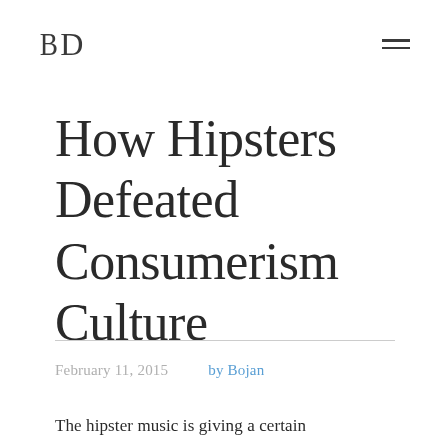BD
How Hipsters Defeated Consumerism Culture
February 11, 2015   by Bojan
The hipster music is giving a certain